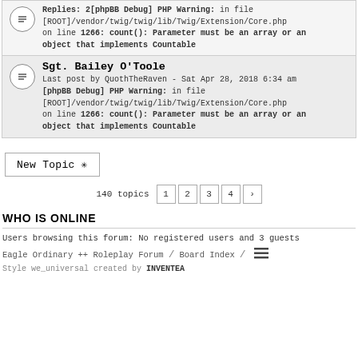Replies: 2[phpBB Debug] PHP Warning: in file [ROOT]/vendor/twig/twig/lib/Twig/Extension/Core.php on line 1266: count(): Parameter must be an array or an object that implements Countable
Sgt. Bailey O'Toole
Last post by QuothTheRaven - Sat Apr 28, 2018 6:34 am
[phpBB Debug] PHP Warning: in file [ROOT]/vendor/twig/twig/lib/Twig/Extension/Core.php on line 1266: count(): Parameter must be an array or an object that implements Countable
New Topic *
140 topics  1  2  3  4  >
WHO IS ONLINE
Users browsing this forum: No registered users and 3 guests
Eagle Ordinary ++ Roleplay Forum / Board Index /
Style we_universal created by INVENTEA